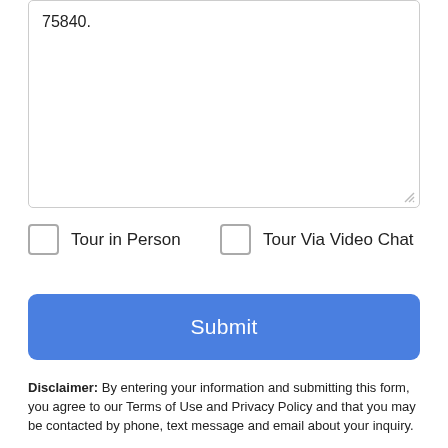75840.
Tour in Person
Tour Via Video Chat
Submit
Disclaimer: By entering your information and submitting this form, you agree to our Terms of Use and Privacy Policy and that you may be contacted by phone, text message and email about your inquiry.
The data relating to real estate for sale on this website comes in part from the Internet Data Exchange (IDX) of the Greater Tyler Association of REALTORS® Multiple
Take a Tour
Ask A Question